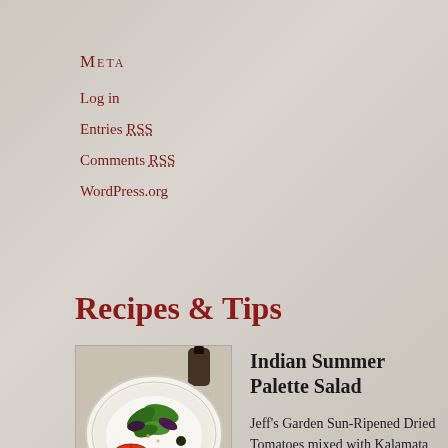Meta
Log in
Entries RSS
Comments RSS
WordPress.org
Recipes & Tips
[Figure (photo): A plate of salad with tomatoes, mixed greens, olives, and dressing on a white plate]
Indian Summer Palette Salad
Jeff’s Garden Sun-Ripened Dried Tomatoes mixed with Kalamata